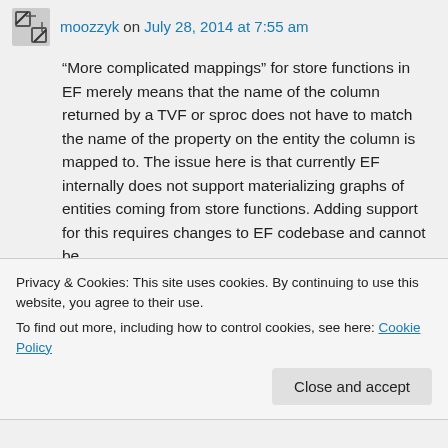moozzyk on July 28, 2014 at 7:55 am
“More complicated mappings” for store functions in EF merely means that the name of the column returned by a TVF or sproc does not have to match the name of the property on the entity the column is mapped to. The issue here is that currently EF internally does not support materializing graphs of entities coming from store functions. Adding support for this requires changes to EF codebase and cannot be
Privacy & Cookies: This site uses cookies. By continuing to use this website, you agree to their use.
To find out more, including how to control cookies, see here: Cookie Policy
Close and accept